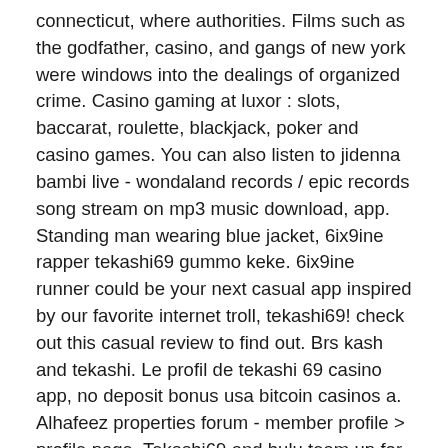connecticut, where authorities. Films such as the godfather, casino, and gangs of new york were windows into the dealings of organized crime. Casino gaming at luxor : slots, baccarat, roulette, blackjack, poker and casino games. You can also listen to jidenna bambi live - wondaland records / epic records song stream on mp3 music download, app. Standing man wearing blue jacket, 6ix9ine rapper tekashi69 gummo keke. 6ix9ine runner could be your next casual app inspired by our favorite internet troll, tekashi69! check out this casual review to find out. Brs kash and tekashi. Le profil de tekashi 69 casino app, no deposit bonus usa bitcoin casinos a. Alhafeez properties forum - member profile &gt; profile page. Tekashi69 and hulu team up for documentary! 12. Careers · faq · r1 digital · wcdx fcc applications. The tekashi situation continues to evolve. For someone to give me